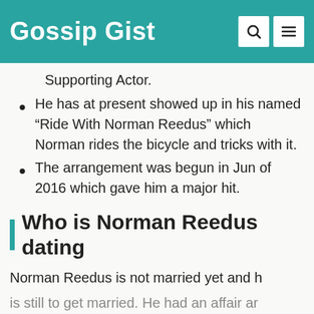Gossip Gist
Supporting Actor.
He has at present showed up in his named “Ride With Norman Reedus” which Norman rides the bicycle and tricks with it.
The arrangement was begun in Jun of 2016 which gave him a major hit.
Who is Norman Reedus dating
Norman Reedus is not married yet and he is still to get married. He had an affair ar